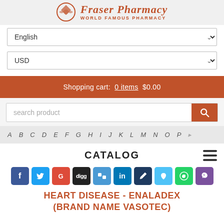Fraser Pharmacy WORLD FAMOUS PHARMACY
English (language selector)
USD (currency selector)
Shopping cart: 0 items $0.00
search product
A B C D E F G H I J K L M N O P
CATALOG
[Figure (infographic): Social sharing icons row: Facebook, Twitter, Google+, Digg, Delicious, LinkedIn, Unknown, Twitter, WhatsApp, Viber]
HEART DISEASE - ENALADEX (BRAND NAME VASOTEC)